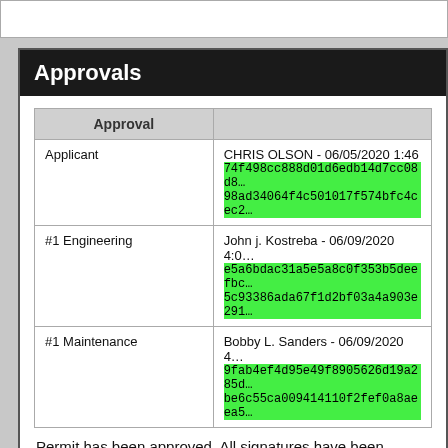Approvals
| Approval |  |
| --- | --- |
| Applicant | CHRIS OLSON - 06/05/2020 1:46
74f498cc888d01d6edb14d7cc08d8...
98ad34064f4c501017f574bfc4cec2... |
| #1 Engineering | John j. Kostreba - 06/09/2020 4:0...
e5a6bdac31a5e5a8c0f353b5deefbc...
5c93386ada67f1d2bf03a4a903e291... |
| #1 Maintenance | Bobby L. Sanders - 06/09/2020 4...
9fab4ef4d95e49f8905626d19a285d...
be6c55ca009414110f2fef0a8aeea5... |
Permit has been approved. All signatures have been obtain...